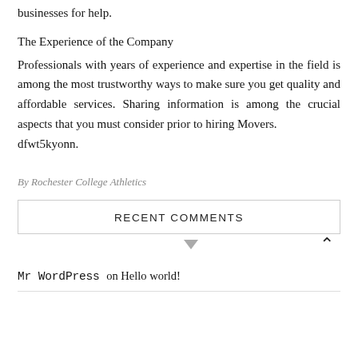businesses for help.
The Experience of the Company
Professionals with years of experience and expertise in the field is among the most trustworthy ways to make sure you get quality and affordable services. Sharing information is among the crucial aspects that you must consider prior to hiring Movers.
dfwt5kyonn.
By Rochester College Athletics
RECENT COMMENTS
Mr WordPress on Hello world!